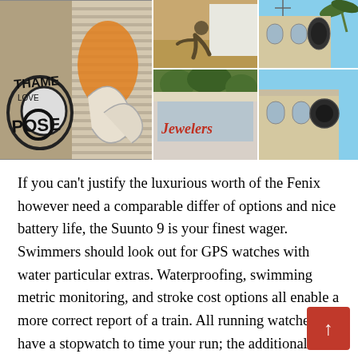[Figure (photo): A collage of four urban photos: graffiti-covered building shutters (large, spanning left), a person crouching on sandy ground (top right), a jeweler shop sign with overgrown plants (bottom center), and an old building facade with a decorative sign (bottom right)]
If you can't justify the luxurious worth of the Fenix however need a comparable differ of options and nice battery life, the Suunto 9 is your finest wager. Swimmers should look out for GPS watches with water particular extras. Waterproofing, swimming metric monitoring, and stroke cost options all enable a more correct report of a train. All running watches have a stopwatch to time your run; the additional superior have the option of recording